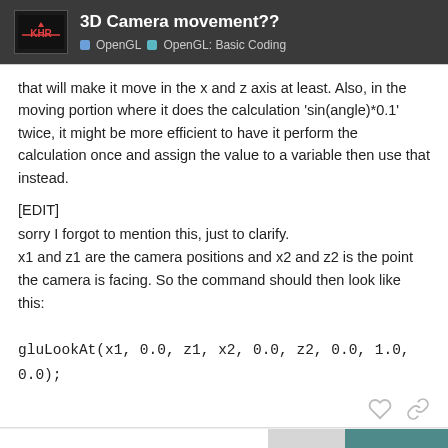3D Camera movement?? | OpenGL | OpenGL: Basic Coding
that will make it move in the x and z axis at least. Also, in the moving portion where it does the calculation 'sin(angle)*0.1' twice, it might be more efficient to have it perform the calculation once and assign the value to a variable then use that instead.
[EDIT]
sorry I forgot to mention this, just to clarify.
x1 and z1 are the camera positions and x2 and z2 is the point the camera is facing. So the command should then look like this:

gluLookAt(x1, 0.0, z1, x2, 0.0, z2, 0.0, 1.0, 0.0);
9 / 9